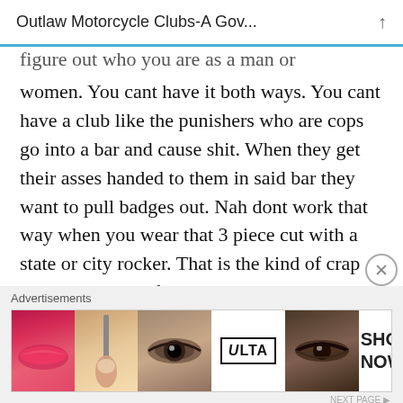Outlaw Motorcycle Clubs-A Gov...
figure out who you are as a man or women. You cant have it both ways. You cant have a club like the punishers who are cops go into a bar and cause shit. When they get their asses handed to them in said bar they want to pull badges out. Nah dont work that way when you wear that 3 piece cut with a state or city rocker. That is the kind of crap people are sick of. Cops want to bust ya one day and be you the next lol
[Figure (photo): Advertisement banner showing ULTA beauty brand with closeups of makeup looks including lips, eye makeup, and a brush, with SHOP NOW text]
Advertisements